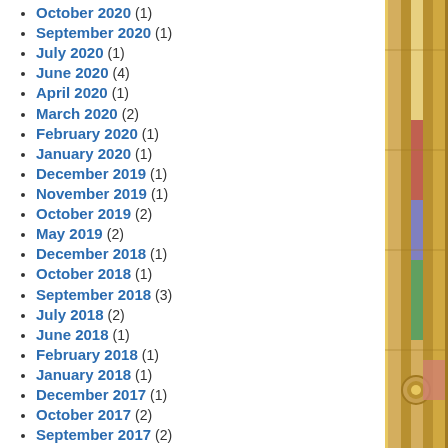October 2020 (1)
September 2020 (1)
July 2020 (1)
June 2020 (4)
April 2020 (1)
March 2020 (2)
February 2020 (1)
January 2020 (1)
December 2019 (1)
November 2019 (1)
October 2019 (2)
May 2019 (2)
December 2018 (1)
October 2018 (1)
September 2018 (3)
July 2018 (2)
June 2018 (1)
February 2018 (1)
January 2018 (1)
December 2017 (1)
October 2017 (2)
September 2017 (2)
August 2017 (2)
July 2017 (5)
June 2017 (2)